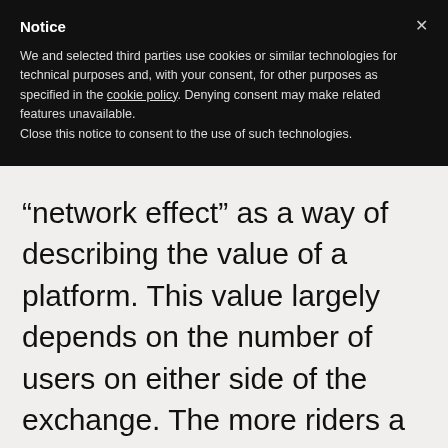Notice
We and selected third parties use cookies or similar technologies for technical purposes and, with your consent, for other purposes as specified in the cookie policy. Denying consent may make related features unavailable.
Close this notice to consent to the use of such technologies.
“network effect” as a way of describing the value of a platform. This value largely depends on the number of users on either side of the exchange. The more riders a ride-sharing platform has, for instance, the more attractive it becomes to drivers, leading even more people to use it.